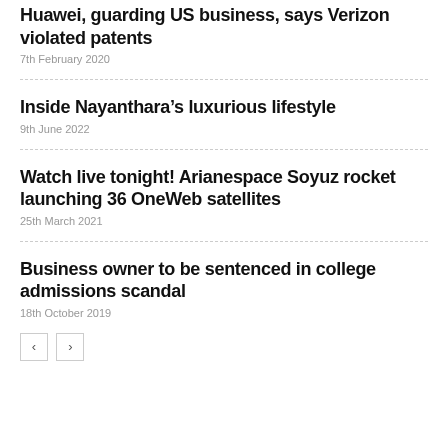Huawei, guarding US business, says Verizon violated patents
7th February 2020
Inside Nayanthara’s luxurious lifestyle
9th June 2022
Watch live tonight! Arianespace Soyuz rocket launching 36 OneWeb satellites
25th March 2021
Business owner to be sentenced in college admissions scandal
18th October 2019